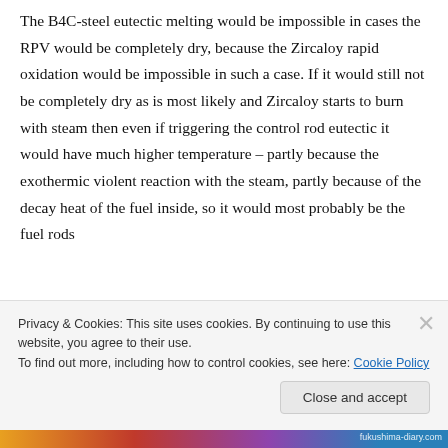The B4C-steel eutectic melting would be impossible in cases the RPV would be completely dry, because the Zircaloy rapid oxidation would be impossible in such a case. If it would still not be completely dry as is most likely and Zircaloy starts to burn with steam then even if triggering the control rod eutectic it would have much higher temperature – partly because the exothermic violent reaction with the steam, partly because of the decay heat of the fuel inside, so it would most probably be the fuel rods
Privacy & Cookies: This site uses cookies. By continuing to use this website, you agree to their use.
To find out more, including how to control cookies, see here: Cookie Policy
Close and accept